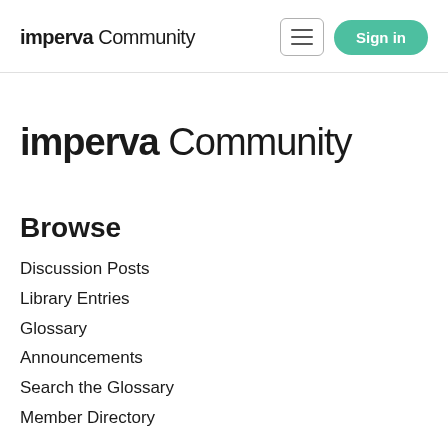imperva Community
imperva Community
Browse
Discussion Posts
Library Entries
Glossary
Announcements
Search the Glossary
Member Directory